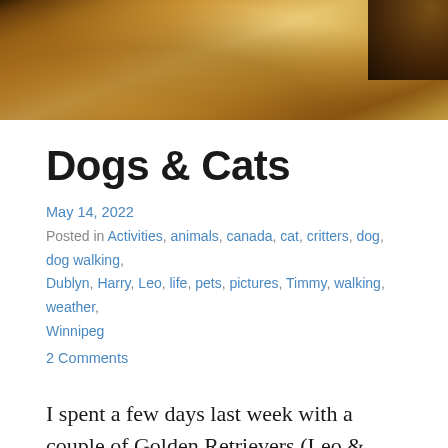[Figure (photo): Close-up photo of a golden retriever dog, showing golden/amber fur in warm tones]
Dogs & Cats
May 14, 2022
Posted in Activities, animals, canada, cat, critters, dog, dog walking, Dublyn, Harry, Leo, life, pets, pictures, Timmy, walking, weather, Winnipeg
2 Comments
I spent a few days last week with a couple of Golden Retrievers (Leo & Dublyn) and a couple of cats (Harry & Timmy). I love to walk with the dogs for...